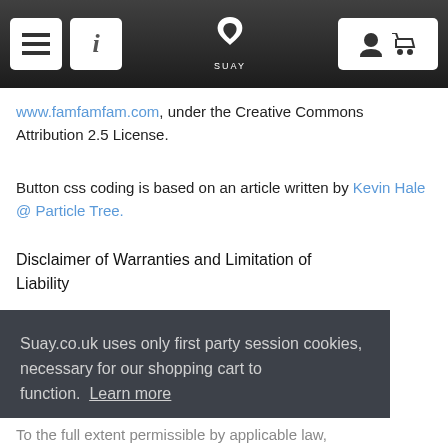SUAY navigation bar
www.famfamfam.com, under the Creative Commons Attribution 2.5 License.
Button css coding is based on an article written by Kevin Hale @ Particle Tree.
Disclaimer of Warranties and Limitation of Liability
Suay.co.uk uses only first party session cookies, necessary for our shopping cart to function.  Learn more
Got it
To the full extent permissible by applicable law,